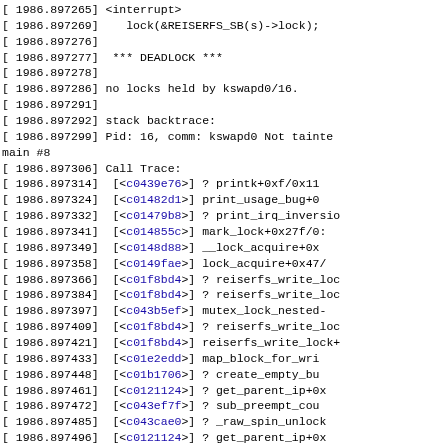[ 1986.897265] <interrupt>
[ 1986.897269]    lock(&REISERFS_SB(s)->lock);
[ 1986.897276]
[ 1986.897277]  *** DEADLOCK ***
[ 1986.897278]
[ 1986.897286] no locks held by kswapd0/16.
[ 1986.897291]
[ 1986.897292] stack backtrace:
[ 1986.897299] Pid: 16, comm: kswapd0 Not tainted main #8
[ 1986.897306] Call Trace:
[ 1986.897314]  [<c0439e76>] ? printk+0xf/0x11
[ 1986.897324]  [<c01482d1>] print_usage_bug+0
[ 1986.897332]  [<c01479b8>] ? print_irq_inversio
[ 1986.897341]  [<c014855c>] mark_lock+0x27f/0:
[ 1986.897349]  [<c0148d88>] __lock_acquire+0x
[ 1986.897358]  [<c0149fae>] lock_acquire+0x47/
[ 1986.897366]  [<c01f8bd4>] ? reiserfs_write_loc
[ 1986.897384]  [<c01f8bd4>] ? reiserfs_write_loc
[ 1986.897397]  [<c043b5ef>] mutex_lock_nested-
[ 1986.897409]  [<c01f8bd4>] ? reiserfs_write_loc
[ 1986.897421]  [<c01f8bd4>] reiserfs_write_lock+
[ 1986.897433]  [<c01e2edd>] map_block_for_wri
[ 1986.897448]  [<c01b1706>] ? create_empty_bu
[ 1986.897461]  [<c0121124>] ? get_parent_ip+0x
[ 1986.897472]  [<c043ef7f>] ? sub_preempt_cou
[ 1986.897485]  [<c043cae0>] ? _raw_spin_unlock
[ 1986.897496]  [<c0121124>] ? get_parent_ip+0x
[ 1986.897508]  [<c01e355d>] reiserfs_writepage+
[ 1986.897521]  [<c0172b40>] ? clear_page_dirty-